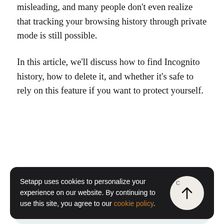misleading, and many people don't even realize that tracking your browsing history through private mode is still possible.
In this article, we'll discuss how to find Incognito history, how to delete it, and whether it's safe to rely on this feature if you want to protect yourself.
[Figure (illustration): Light teal rounded rectangle box at the bottom of the page, partially visible, appearing to contain an illustration.]
Setapp uses cookies to personalize your experience on our website. By continuing to use this site, you agree to our cookie policy.